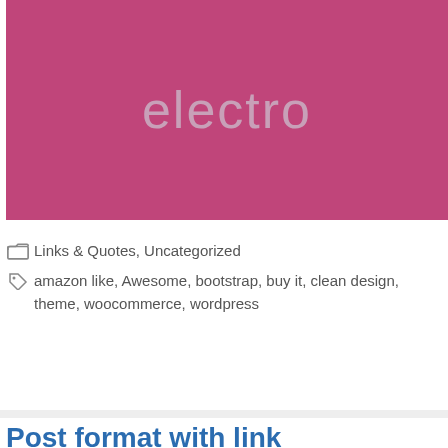[Figure (illustration): Pink/magenta colored rectangle with the word 'electro' displayed in a lighter muted pink/grey text centered within it]
Links & Quotes, Uncategorized
amazon like, Awesome, bootstrap, buy it, clean design, theme, woocommerce, wordpress
Post format with link